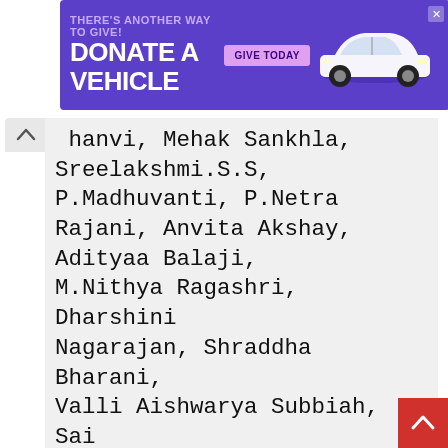[Figure (screenshot): Purple advertisement banner: 'THERE'S ANOTHER WAY TO GIVE! DONATE A VEHICLE GIVE TODAY' with a car image on the right and a close button]
Shanvi, Mehak Sankhla, Sreelakshmi.S.S, P.Madhuvanti, P.Netra Rajani, Anvita Akshay, Adityaa Balaji, M.Nithya Ragashri, Dharshini Nagarajan, Shraddha Bharani, Valli Aishwarya Subbiah, Sai Saramathi, Kadambari Karthik, Thakarsh ). Mixed and Mastered by Sai Shravanam at Resound India. Recorded and Produced at Paramathmaa Studios, Chennai.